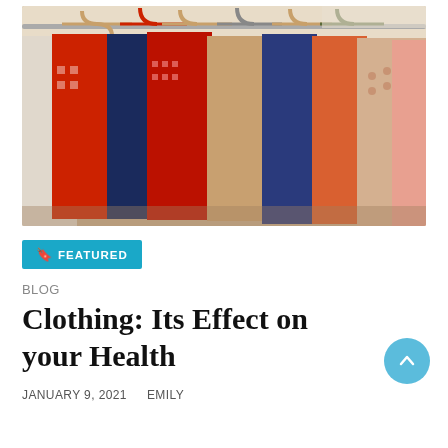[Figure (photo): Colorful clothes hanging on a rack with wooden and colored hangers, viewed from the front showing various patterns and colors including red, blue, navy, orange, and patterned fabrics.]
🔖 FEATURED
BLOG
Clothing: Its Effect on your Health
JANUARY 9, 2021   EMILY